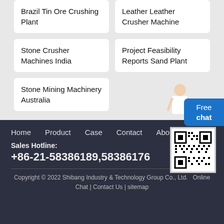Brazil Tin Ore Crushing Plant
Leather Leather Crusher Machine
Stone Crusher Machines India
Project Feasibility Reports Sand Plant
Stone Mining Machinery Australia
Home   Product   Case   Contact   About
Sales Hotline:
+86-21-58386189,58386176
Copyright © 2022 Shibang Industry & Technology Group Co., Ltd.   Online Chat | Contact Us | sitemap